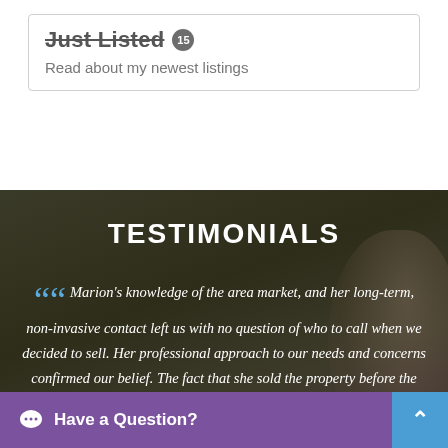Just Listed
Read about my newest listings
TESTIMONIALS
Marion's knowledge of the area market, and her long-term, non-invasive contact left us with no question of who to call when we decided to sell. Her professional approach to our needs and concerns confirmed our belief. The fact that she sold the property before the sign went up)
Have a Question?